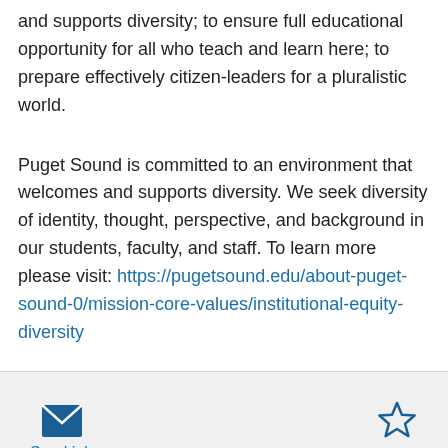and supports diversity; to ensure full educational opportunity for all who teach and learn here; to prepare effectively citizen-leaders for a pluralistic world.
Puget Sound is committed to an environment that welcomes and supports diversity. We seek diversity of identity, thought, perspective, and background in our students, faculty, and staff. To learn more please visit: https://pugetsound.edu/about-puget-sound-0/mission-core-values/institutional-equity-diversity
Send job | Save